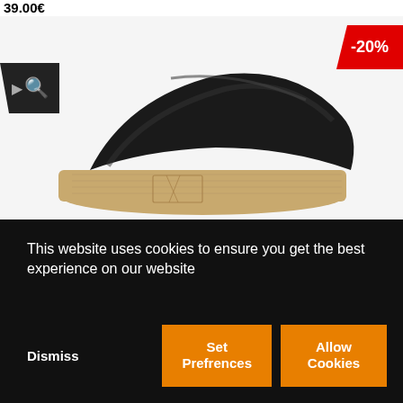39.00€
[Figure (photo): E-commerce product page showing a black leather cork-sole sandal/slide on a light grey background, with a -20% red discount badge in the top right corner and a search/zoom icon button on the left]
This website uses cookies to ensure you get the best experience on our website
Dismiss
Set Prefrences
Allow Cookies